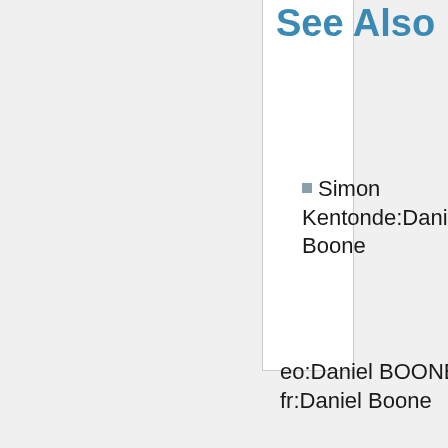See Also
Simon Kentonde:Daniel Boone
eo:Daniel BOONE fr:Daniel Boone